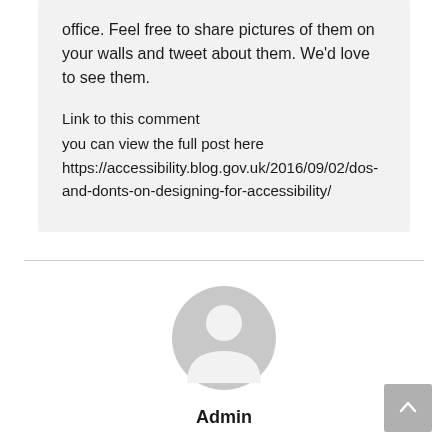office. Feel free to share pictures of them on your walls and tweet about them. We'd love to see them.
Link to this comment
you can view the full post here
https://accessibility.blog.gov.uk/2016/09/02/dos-and-donts-on-designing-for-accessibility/
[Figure (illustration): Generic user avatar icon — circular grey silhouette of a person]
Admin